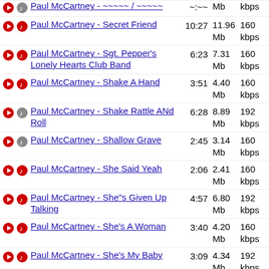Paul McCartney - Secret Friend | 10:27 | 11.96 Mb | 160 kbps
Paul McCartney - Sgt. Pepper's Lonely Hearts Club Band | 6:23 | 7.31 Mb | 160 kbps
Paul McCartney - Shake A Hand | 3:51 | 4.40 Mb | 160 kbps
Paul McCartney - Shake Rattle ANd Roll | 6:28 | 8.89 Mb | 192 kbps
Paul McCartney - Shallow Grave | 2:45 | 3.14 Mb | 160 kbps
Paul McCartney - She Said Yeah | 2:06 | 2.41 Mb | 160 kbps
Paul McCartney - She"s Given Up Talking | 4:57 | 6.80 Mb | 192 kbps
Paul McCartney - She's A Woman | 3:40 | 4.20 Mb | 160 kbps
Paul McCartney - She's My Baby | 3:09 | 4.34 Mb | 192 kbps
Paul McCartney - Sheep May Safely Graze - Paul About Meat | 2:16 | 3.11 Mb | 192 kbps
Paul McCartney - Showtime | 0:38 | 0.73 Mb | 160 kbps
Paul McCartney - Silly Love S... | 6:05 | 8.36 Mb | 192 kbps